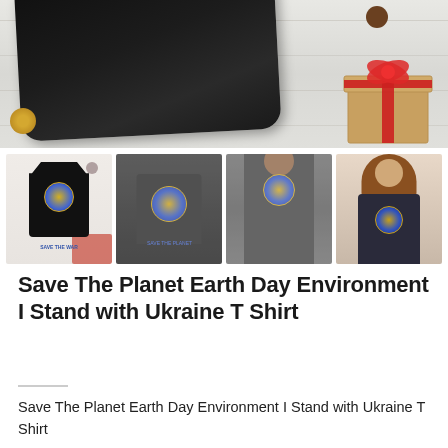[Figure (photo): Main product photo: black t-shirt laid flat on white wood surface with kraft gift box with red ribbon in corner and gold ornament]
[Figure (photo): Four thumbnail product photos: black t-shirt front view, dark hoodie back view, person wearing dark t-shirt, woman wearing dark t-shirt]
Save The Planet Earth Day Environment I Stand with Ukraine T Shirt
Save The Planet Earth Day Environment I Stand with Ukraine T Shirt